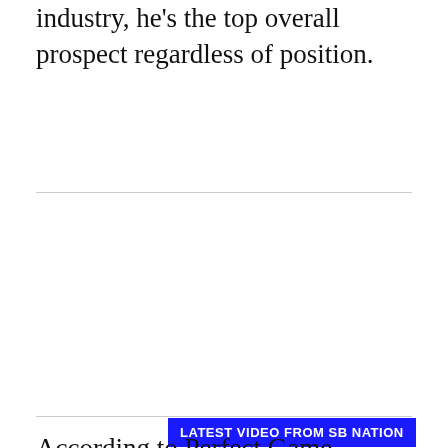industry, he's the top overall prospect regardless of position.
[Figure (screenshot): Black video player thumbnail with 'LATEST VIDEO FROM SB NATION' blue label above it]
According to Perfect Game, Martin was a top 100